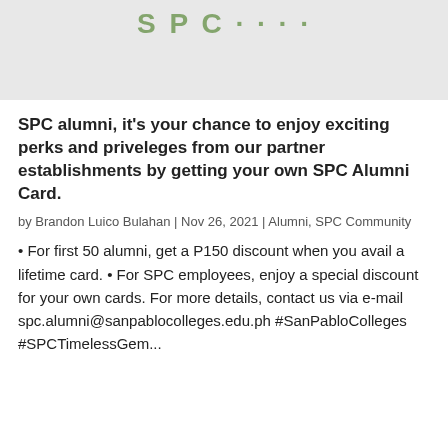[Figure (logo): Partial logo image visible at top of page on a light gray background]
SPC alumni, it's your chance to enjoy exciting perks and priveleges from our partner establishments by getting your own SPC Alumni Card.
by Brandon Luico Bulahan | Nov 26, 2021 | Alumni, SPC Community
• For first 50 alumni, get a P150 discount when you avail a lifetime card. • For SPC employees, enjoy a special discount for your own cards. For more details, contact us via e-mail spc.alumni@sanpablocolleges.edu.ph #SanPabloColleges #SPCTimelessGem...